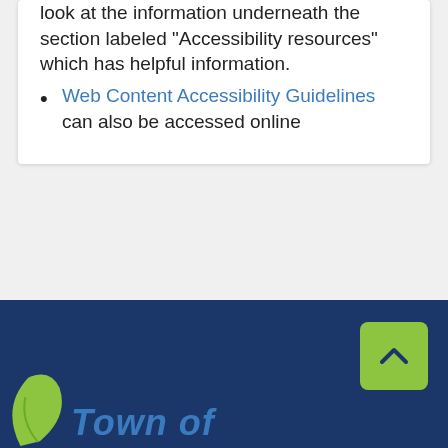look at the information underneath the section labeled “Accessibility resources” which has helpful information.
Web Content Accessibility Guidelines can also be accessed online
[Figure (logo): Town logo area with dark blue footer background, green back-to-top button with caret, green leaf shape and 'Town of' text in blue italic]